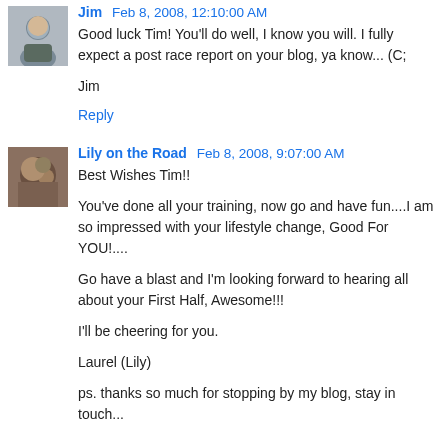Jim Feb 8, 2008, 12:10:00 AM
Good luck Tim! You'll do well, I know you will. I fully expect a post race report on your blog, ya know... (C;

Jim
Reply
Lily on the Road Feb 8, 2008, 9:07:00 AM
Best Wishes Tim!!

You've done all your training, now go and have fun....I am so impressed with your lifestyle change, Good For YOU!....

Go have a blast and I'm looking forward to hearing all about your First Half, Awesome!!!

I'll be cheering for you.

Laurel (Lily)

ps. thanks so much for stopping by my blog, stay in touch...